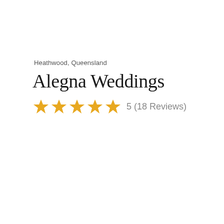Heathwood, Queensland
Alegna Weddings
5 (18 Reviews)